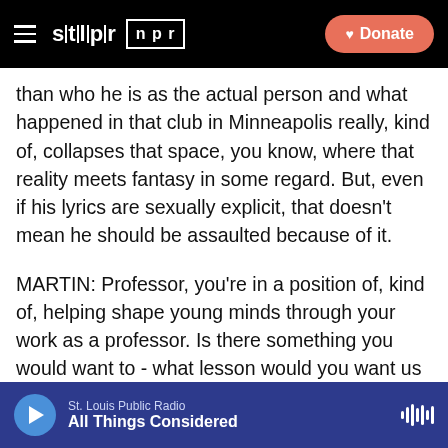STLPR NPR | Donate
than who he is as the actual person and what happened in that club in Minneapolis really, kind of, collapses that space, you know, where that reality meets fantasy in some regard. But, even if his lyrics are sexually explicit, that doesn't mean he should be assaulted because of it.
MARTIN: Professor, you're in a position of, kind of, helping shape young minds through your work as a professor. Is there something you would want to - what lesson would you want us to draw from this?
NEAL: Better conversations about male vulnerability in terms of their bodies and sexuality - and particularly in the case of black men. I mean, that's one of the things
St. Louis Public Radio | All Things Considered